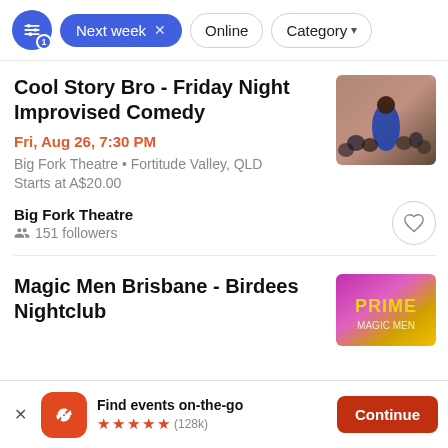Next week | Online | Category
Cool Story Bro - Friday Night Improvised Comedy
Fri, Aug 26, 7:30 PM
Big Fork Theatre • Fortitude Valley, QLD
Starts at A$20.00
Big Fork Theatre
151 followers
[Figure (photo): Photo of a comedian on stage in a blue shirt with audience behind]
Magic Men Brisbane - Birdees Nightclub
[Figure (photo): Promotional image for Magic Men Brisbane show with colorful background]
Find events on-the-go ★★★★★ (128k)
Continue